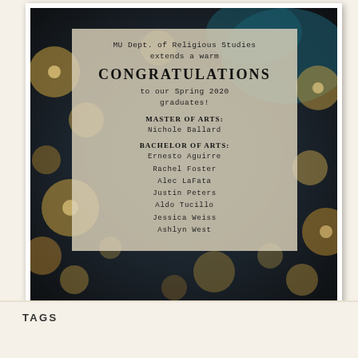[Figure (photo): A congratulations announcement card from MU Dept. of Religious Studies for Spring 2020 graduates, overlaid on a bokeh lights background. The card lists Master of Arts graduate Nichole Ballard and Bachelor of Arts graduates: Ernesto Aguirre, Rachel Foster, Alec LaFata, Justin Peters, Aldo Tucillo, Jessica Weiss, Ashlyn West.]
TAGS